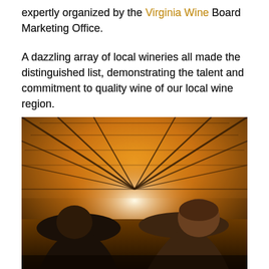expertly organized by the Virginia Wine Board Marketing Office.
A dazzling array of local wineries all made the distinguished list, demonstrating the talent and commitment to quality wine of our local wine region.
[Figure (photo): Interior of a large industrial or event hall with a dramatic arched steel truss ceiling glowing warm amber/orange. In the foreground, two men with short hair and beards are visible from behind/side, appearing to be in conversation or looking at something.]